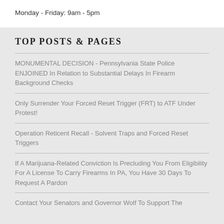Monday - Friday: 9am - 5pm
TOP POSTS & PAGES
MONUMENTAL DECISION - Pennsylvania State Police ENJOINED In Relation to Substantial Delays In Firearm Background Checks
Only Surrender Your Forced Reset Trigger (FRT) to ATF Under Protest!
Operation Reticent Recall - Solvent Traps and Forced Reset Triggers
If A Marijuana-Related Conviction Is Precluding You From Eligibility For A License To Carry Firearms In PA, You Have 30 Days To Request A Pardon
Contact Your Senators and Governor Wolf To Support The